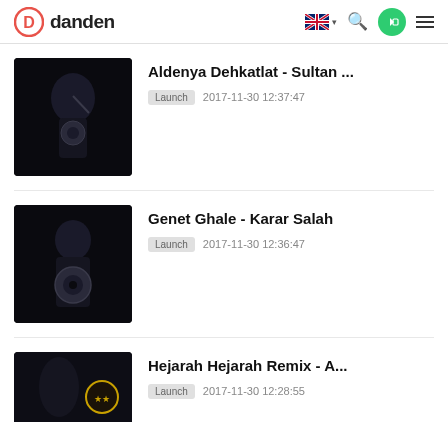danden
Aldenya Dehkatlat - Sultan ...
Launch  2017-11-30 12:37:47
[Figure (photo): Dark photo of a person pointing forward holding headphones]
Genet Ghale - Karar Salah
Launch  2017-11-30 12:36:47
[Figure (photo): Dark photo of a person holding headphones]
Hejarah Hejarah Remix - A...
Launch  2017-11-30 12:28:55
[Figure (photo): Dark photo of a person with a yellow logo badge]